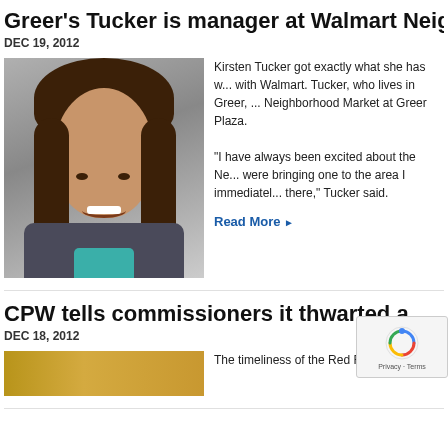Greer's Tucker is manager at Walmart Neighborhood Market at Greer Plaza
DEC 19, 2012
[Figure (photo): Portrait photo of Kirsten Tucker, a woman with shoulder-length brown hair, smiling]
Kirsten Tucker got exactly what she has wanted with Walmart. Tucker, who lives in Greer, is manager of the Neighborhood Market at Greer Plaza.

"I have always been excited about the Neighborhood Market concept, so when they were bringing one to the area I immediately put my name in to be there," Tucker said.
Read More ▶
CPW tells commissioners it thwarted a...
DEC 18, 2012
[Figure (photo): Partial image visible at bottom of page]
The timeliness of the Red Flag commit...